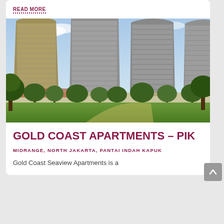READ MORE
[Figure (photo): Exterior photo of Gold Coast Apartments – PIK showing multiple tall residential towers with glass facades, green trees and landscaping in the foreground under a partly cloudy sky]
GOLD COAST APARTMENTS – PIK
MIDRANGE, NORTH JAKARTA, PANTAI INDAH KAPUK
Gold Coast Seaview Apartments is a